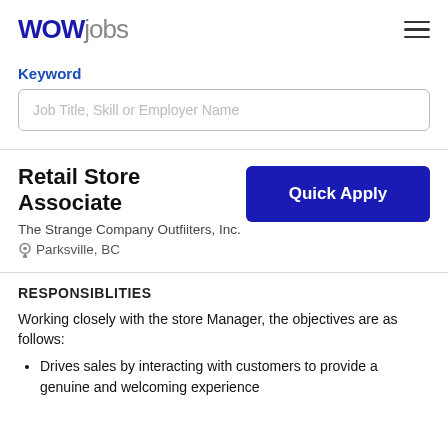WOWjobs
Keyword
Job Title, Skill or Employer Name
Retail Store Associate
The Strange Company Outfiiters, Inc.
Parksville, BC
RESPONSIBLITIES
Working closely with the store Manager, the objectives are as follows:
Drives sales by interacting with customers to provide a genuine and welcoming experience